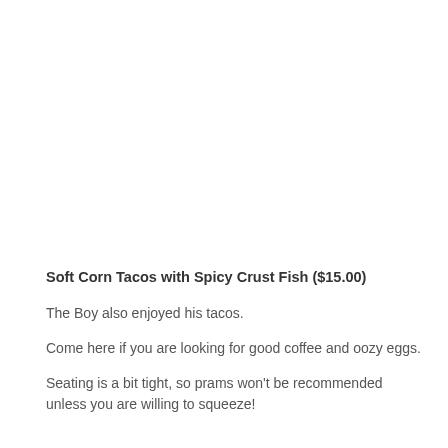Soft Corn Tacos with Spicy Crust Fish ($15.00)
The Boy also enjoyed his tacos.
Come here if you are looking for good coffee and oozy eggs.
Seating is a bit tight, so prams won't be recommended unless you are willing to squeeze!